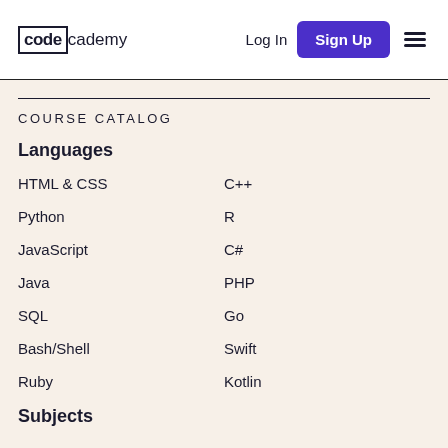codecademy — Log In | Sign Up
COURSE CATALOG
Languages
HTML & CSS
C++
Python
R
JavaScript
C#
Java
PHP
SQL
Go
Bash/Shell
Swift
Ruby
Kotlin
Subjects